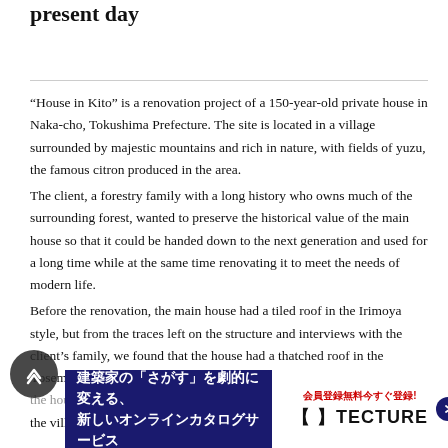present day
“House in Kito” is a renovation project of a 150-year-old private house in Naka-cho, Tokushima Prefecture. The site is located in a village surrounded by majestic mountains and rich in nature, with fields of yuzu, the famous citron produced in the area.
The client, a forestry family with a long history who owns much of the surrounding forest, wanted to preserve the historical value of the main house so that it could be handed down to the next generation and used for a long time while at the same time renovating it to meet the needs of modern life.
Before the renovation, the main house had a tiled roof in the Irimoya style, but from the traces left on the structure and interviews with the client’s family, we found that the house had a thatched roof in the Yosemune style when it was first built. Therefore, we decided to re[store the house to its original appearance] [as the former] [ic...] d conspicuous part of the village, and by rebuilding it using modern